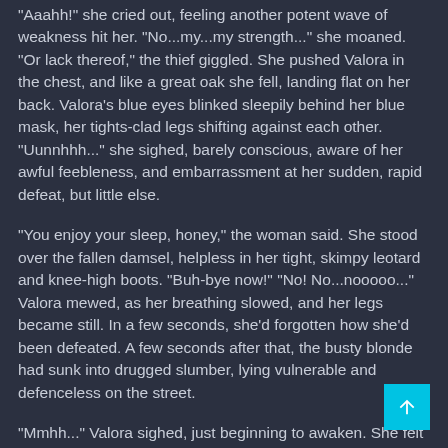"Aaahh!" she cried out, feeling another potent wave of weakness hit her. "No...my...my strength..." she moaned. "Or lack thereof," the thief giggled. She pushed Valora in the chest, and like a great oak she fell, landing flat on her back. Valora's blue eyes blinked sleepily behind her blue mask, her tights-clad legs shifting against each other. "Uunnhhh..." she sighed, barely conscious, aware of her awful feebleness, and embarrassment at her sudden, rapid defeat, but little else.
"You enjoy your sleep, honey," the woman said. She stood over the fallen damsel, helpless in her tight, skimpy leotard and knee-high boots. "Buh-bye now!" "No! No...nooooo..." Valora mewed, as her breathing slowed, and her legs became still. In a few seconds, she'd forgotten how she'd been defeated. A few seconds after that, the busty blonde had sunk into drugged slumber, lying vulnerable and defenceless on the street.
"Mmhh..." Valora sighed, just beginning to awaken. She felt hands on her legs, felt her arms trailing limply - someone was carrying her. "Drugged... carried... have I